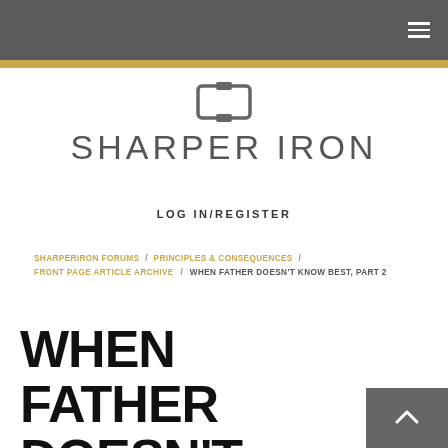SHARPER IRON
LOG IN/REGISTER
SHARPERIRON FORUMS / PRINCIPLES & CONSEQUENCES / FRONT PAGE ARTICLE ARCHIVE / WHEN FATHER DOESN'T KNOW BEST, PART 2
WHEN FATHER DOESN'T KNOW BEST, PART 2